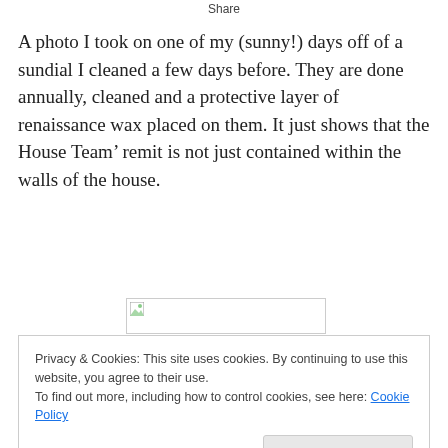Share
A photo I took on one of my (sunny!) days off of a sundial I cleaned a few days before. They are done annually, cleaned and a protective layer of renaissance wax placed on them. It just shows that the House Team’ remit is not just contained within the walls of the house.
[Figure (photo): Broken/unloaded image placeholder]
Privacy & Cookies: This site uses cookies. By continuing to use this website, you agree to their use.
To find out more, including how to control cookies, see here: Cookie Policy
Close and accept